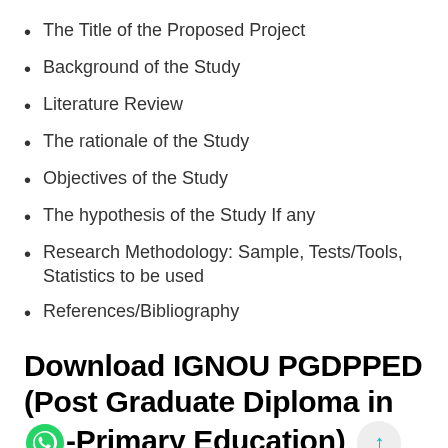The Title of the Proposed Project
Background of the Study
Literature Review
The rationale of the Study
Objectives of the Study
The hypothesis of the Study If any
Research Methodology: Sample, Tests/Tools, Statistics to be used
References/Bibliography
Download IGNOU PGDPPED (Post Graduate Diploma in Pre-Primary Education) MESP 085 Synopsis or